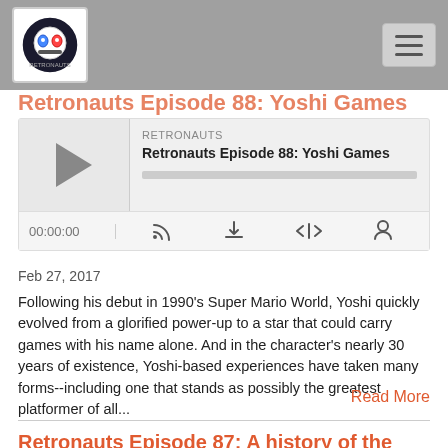RETRONAUTS
[Figure (screenshot): Podcast audio player widget for Retronauts Episode 88: Yoshi Games showing play button, progress bar, timestamp 00:00:00, and media control icons]
Feb 27, 2017
Following his debut in 1990's Super Mario World, Yoshi quickly evolved from a glorified power-up to a star that could carry games with his name alone. And in the character's nearly 30 years of existence, Yoshi-based experiences have taken many forms--including one that stands as possibly the greatest platformer of all...
Read More
Retronauts Episode 87: A history of the